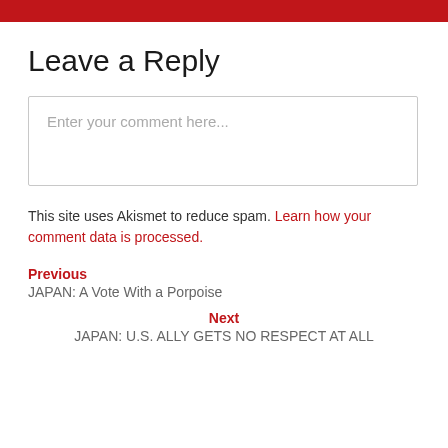Leave a Reply
Enter your comment here...
This site uses Akismet to reduce spam. Learn how your comment data is processed.
Previous
JAPAN: A Vote With a Porpoise
Next
JAPAN: U.S. ALLY GETS NO RESPECT AT ALL